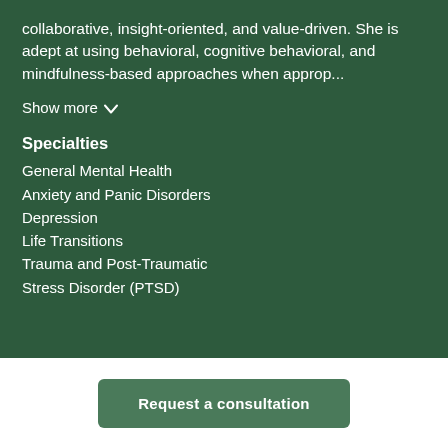collaborative, insight-oriented, and value-driven. She is adept at using behavioral, cognitive behavioral, and mindfulness-based approaches when approp...
Show more
Specialties
General Mental Health
Anxiety and Panic Disorders
Depression
Life Transitions
Trauma and Post-Traumatic Stress Disorder (PTSD)
Request a consultation